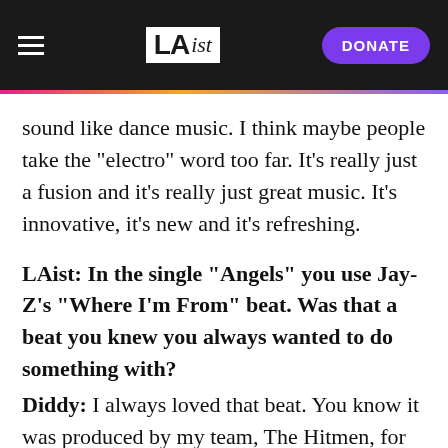LAist — DONATE
sound like dance music. I think maybe people take the "electro" word too far. It's really just a fusion and it's really just great music. It's innovative, it's new and it's refreshing.
LAist: In the single "Angels" you use Jay-Z's "Where I'm From" beat. Was that a beat you knew you always wanted to do something with?
Diddy: I always loved that beat. You know it was produced by my team, The Hitmen, for Jay-Z so we had some involvement with the original but it was always a beat that was so hard to me that I wanted